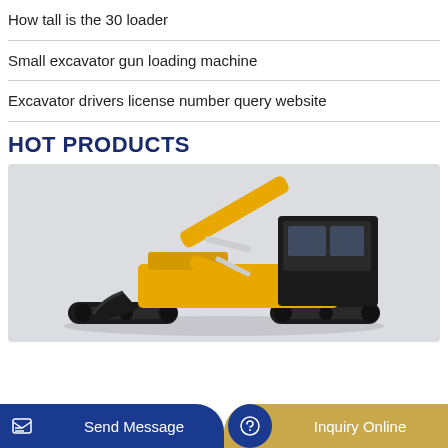How tall is the 30 loader
Small excavator gun loading machine
Excavator drivers license number query website
HOT PRODUCTS
[Figure (photo): Yellow mini excavator with black bucket and cab on a light grey background]
Send Message
Inquiry Online